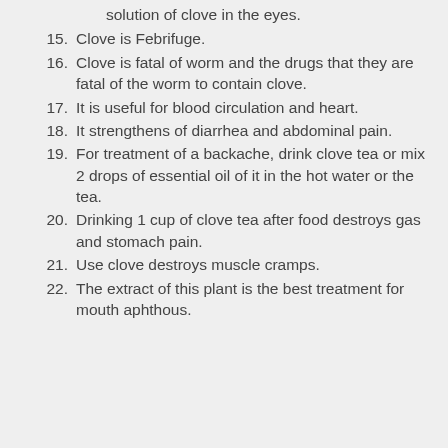solution of clove in the eyes.
15. Clove is Febrifuge.
16. Clove is fatal of worm and the drugs that they are fatal of the worm to contain clove.
17. It is useful for blood circulation and heart.
18. It strengthens of diarrhea and abdominal pain.
19. For treatment of a backache, drink clove tea or mix 2 drops of essential oil of it in the hot water or the tea.
20. Drinking 1 cup of clove tea after food destroys gas and stomach pain.
21. Use clove destroys muscle cramps.
22. The extract of this plant is the best treatment for mouth aphthous.